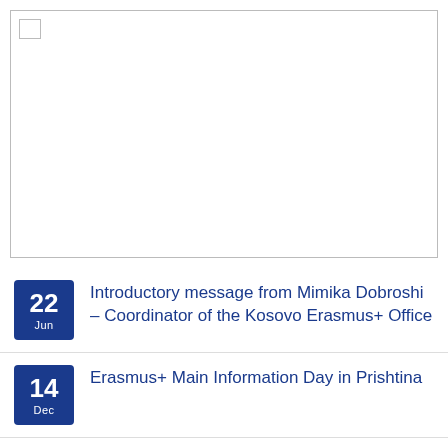[Figure (other): Large empty bordered image placeholder with a small square icon in the top-left corner]
Introductory message from Mimika Dobroshi – Coordinator of the Kosovo Erasmus+ Office
Erasmus+ Main Information Day in Prishtina